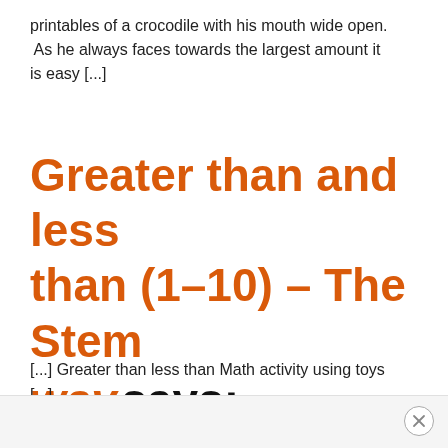printables of a crocodile with his mouth wide open. As he always faces towards the largest amount it is easy [...]
Greater than and less than (1-10) – The Stem way says:
[...] Greater than less than Math activity using toys [...]